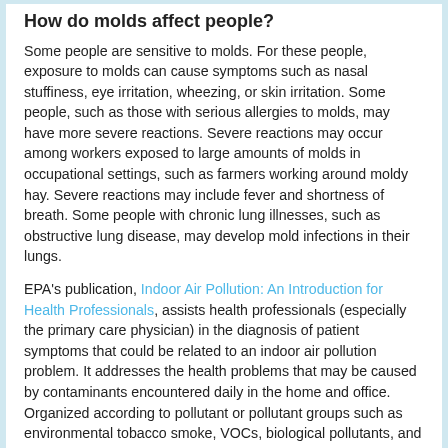How do molds affect people?
Some people are sensitive to molds. For these people, exposure to molds can cause symptoms such as nasal stuffiness, eye irritation, wheezing, or skin irritation. Some people, such as those with serious allergies to molds, may have more severe reactions. Severe reactions may occur among workers exposed to large amounts of molds in occupational settings, such as farmers working around moldy hay. Severe reactions may include fever and shortness of breath. Some people with chronic lung illnesses, such as obstructive lung disease, may develop mold infections in their lungs.
EPA's publication, Indoor Air Pollution: An Introduction for Health Professionals, assists health professionals (especially the primary care physician) in the diagnosis of patient symptoms that could be related to an indoor air pollution problem. It addresses the health problems that may be caused by contaminants encountered daily in the home and office. Organized according to pollutant or pollutant groups such as environmental tobacco smoke, VOCs, biological pollutants, and sick building syndrome, this booklet lists key signs and symptoms from exposure to these pollutants, provides a diagnostic